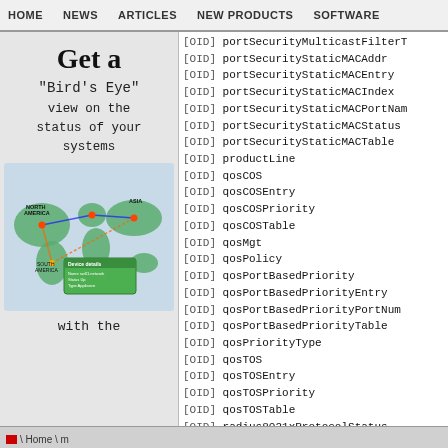HOME  NEWS  ARTICLES  NEW PRODUCTS  SOFTWARE
[Figure (illustration): Advertisement showing 'Get a Bird's Eye view on the status of your systems with the' text alongside a world map network monitoring graphic]
[OID] portSecurityMulticastFilterT
[OID] portSecurityStaticMACAddr
[OID] portSecurityStaticMACEntry
[OID] portSecurityStaticMACIndex
[OID] portSecurityStaticMACPortNam
[OID] portSecurityStaticMACStatus
[OID] portSecurityStaticMACTable
[OID] productLine
[OID] qosCOS
[OID] qosCOSEntry
[OID] qosCOSPriority
[OID] qosCOSTable
[OID] qosMgt
[OID] qosPolicy
[OID] qosPortBasedPriority
[OID] qosPortBasedPriorityEntry
[OID] qosPortBasedPriorityPortNum
[OID] qosPortBasedPriorityTable
[OID] qosPriorityType
[OID] qosTOS
[OID] qosTOSEntry
[OID] qosTOSPriority
[OID] qosTOSTable
[OID] radius8021xProtocolStatus
[OID] radiusAccountingPort
x \ Home \ m